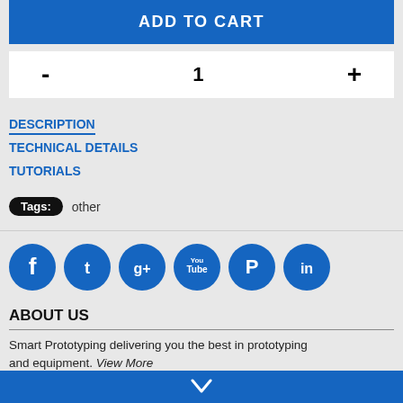ADD TO CART
- 1 +
DESCRIPTION
TECHNICAL DETAILS
TUTORIALS
Tags: other
[Figure (infographic): Six blue circular social media icons: Facebook, Twitter, Google+, YouTube, Pinterest, LinkedIn]
ABOUT US
Smart Prototyping delivering you the best in prototyping and equipment. View More